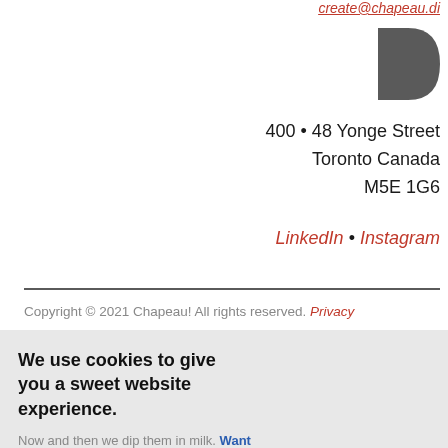create@chapeau.di
[Figure (logo): Chapeau D logo mark in dark grey]
400 • 48 Yonge Street
Toronto Canada
M5E 1G6
LinkedIn • Instagram
Copyright © 2021 Chapeau! All rights reserved. Privacy
We use cookies to give you a sweet website experience.
Now and then we dip them in milk. Want our recipe?
Yum!